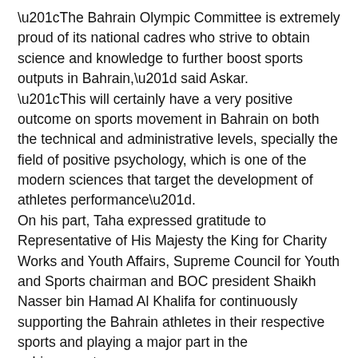“The Bahrain Olympic Committee is extremely proud of its national cadres who strive to obtain science and knowledge to further boost sports outputs in Bahrain,” said Askar. “This will certainly have a very positive outcome on sports movement in Bahrain on both the technical and administrative levels, specially the field of positive psychology, which is one of the modern sciences that target the development of athletes performance”. On his part, Taha expressed gratitude to Representative of His Majesty the King for Charity Works and Youth Affairs, Supreme Council for Youth and Sports chairman and BOC president Shaikh Nasser bin Hamad Al Khalifa for continuously supporting the Bahrain athletes in their respective sports and playing a major part in the achievements. Taha also thanked the BOC general secretary for his significant contributions to him obtaining this advanced scientific degree, and vowed to continue his search for